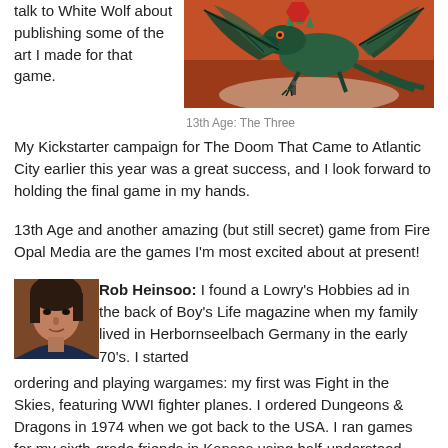talk to White Wolf about publishing some of the art I made for that game.
[Figure (illustration): Dragon illustration titled 13th Age: The Three — a blue-green dragon with spiked wings on an orange-red background]
13th Age: The Three
My Kickstarter campaign for The Doom That Came to Atlantic City earlier this year was a great success, and I look forward to holding the final game in my hands.
13th Age and another amazing (but still secret) game from Fire Opal Media are the games I'm most excited about at present!
[Figure (photo): Small avatar photo of Rob Heinsoo, a man with dark hair]
Rob Heinsoo: I found a Lowry's Hobbies ad in the back of Boy's Life magazine when my family lived in Herbornseelbach Germany in the early 70's. I started ordering and playing wargames: my first was Fight in the Skies, featuring WWI fighter planes. I ordered Dungeons & Dragons in 1974 when we got back to the USA. I ran games for my sixth-grade friends in Kansas using half-understood mechanics, filling in with melee rules from Napoleonic skirmish wargames when we couldn't understand the combat tables.